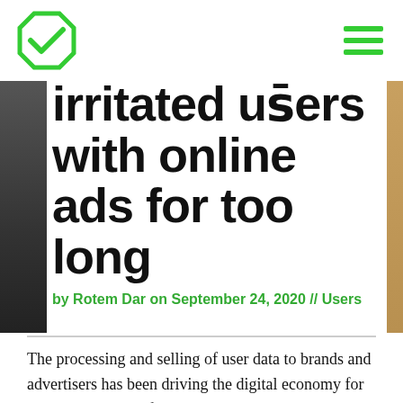[Figure (logo): Green octagon logo with white checkmark inside]
[Figure (illustration): Hamburger menu icon with three green horizontal lines]
[Figure (photo): Partial hero image on left edge showing stacked books or objects in dark tones]
[Figure (photo): Partial hero image on right edge showing warm brown tones]
irritated users with online ads for too long
by Rotem Dar on September 24, 2020 // Users
The processing and selling of user data to brands and advertisers has been driving the digital economy for the last decade. In fact, it's the reason why the big five tech titans of